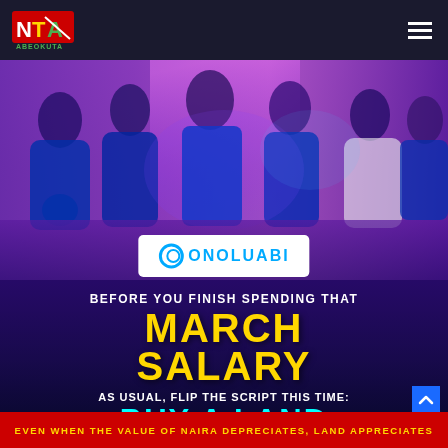[Figure (logo): NTA Abeokuta logo - red and green stylized letters NTA with ABEOKUTA text below]
[Figure (photo): Group of people wearing blue shirts and caps at an event, with purple/pink lighting]
[Figure (logo): Onoluabi brand logo in white badge with blue circular O and blue text]
BEFORE YOU FINISH SPENDING THAT
MARCH
SALARY
AS USUAL, FLIP THE SCRIPT THIS TIME:
BUY A LAND
MAKE A DEPOSIT
EVEN WHEN THE VALUE OF NAIRA DEPRECIATES, LAND APPRECIATES